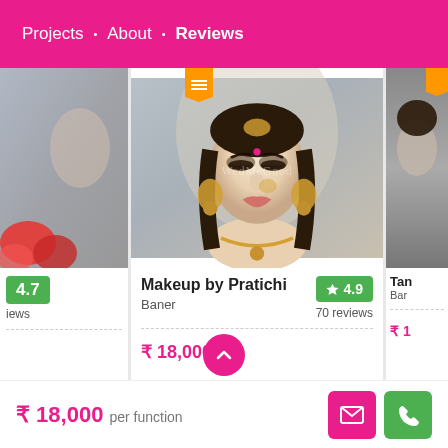Projects  •  About  •  Reviews
[Figure (photo): Left partial card showing a bridal hand with red flowers and a 4.7 green rating badge]
[Figure (photo): Center card showing a bride in traditional Indian bridal makeup and jewelry with veil, watermark 'WedMeGood']
Makeup by Pratichi
Baner
4.9
70 reviews
₹ 18,000
[Figure (photo): Right partial card showing another vendor (Tan... / Ban...) with orange badge]
₹ 1...
₹ 18,000 per function